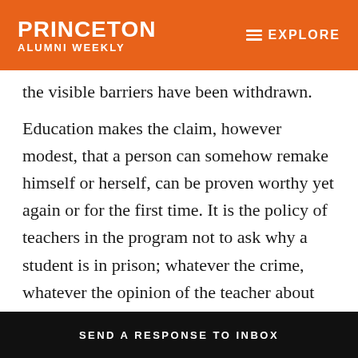PRINCETON ALUMNI WEEKLY | EXPLORE
the visible barriers have been withdrawn.
Education makes the claim, however modest, that a person can somehow remake himself or herself, can be proven worthy yet again or for the first time. It is the policy of teachers in the program not to ask why a student is in prison; whatever the crime, whatever the opinion of the teacher about such crimes, the work we do is intended to prepare students for a life after jail once they have, to use a cruel and inaccurate phrase, “paid their debt to society.” This preparation is both spiritual and also quite practical.
SEND A RESPONSE TO INBOX